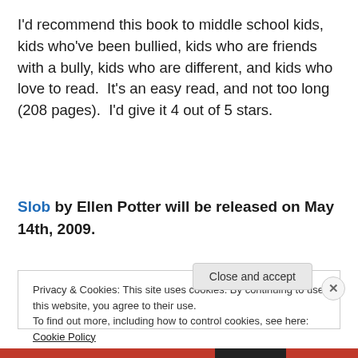I'd recommend this book to middle school kids, kids who've been bullied, kids who are friends with a bully, kids who are different, and kids who love to read.  It's an easy read, and not too long (208 pages).  I'd give it 4 out of 5 stars.
Slob by Ellen Potter will be released on May 14th, 2009.
Privacy & Cookies: This site uses cookies. By continuing to use this website, you agree to their use.
To find out more, including how to control cookies, see here: Cookie Policy